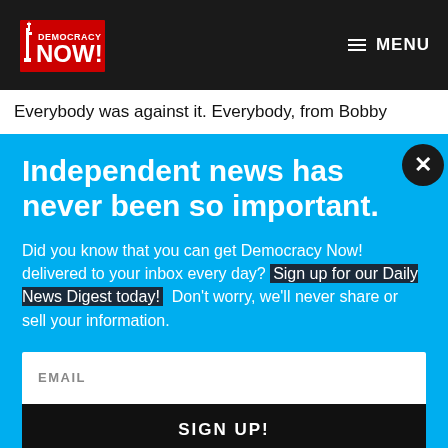Democracy Now! — MENU
Everybody was against it. Everybody, from Bobby
Independent news has never been so important.
Did you know that you can get Democracy Now! delivered to your inbox every day? Sign up for our Daily News Digest today! Don't worry, we'll never share or sell your information.
EMAIL
SIGN UP!